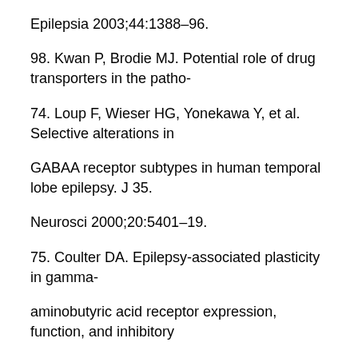Epilepsia 2003;44:1388–96.
98. Kwan P, Brodie MJ. Potential role of drug transporters in the patho-
74. Loup F, Wieser HG, Yonekawa Y, et al. Selective alterations in
GABAA receptor subtypes in human temporal lobe epilepsy. J 35.
Neurosci 2000;20:5401–19.
75. Coulter DA. Epilepsy-associated plasticity in gamma-
aminobutyric acid receptor expression, function, and inhibitory
synaptic properties. Int Rev Neurobiol 2001;45:237–52.